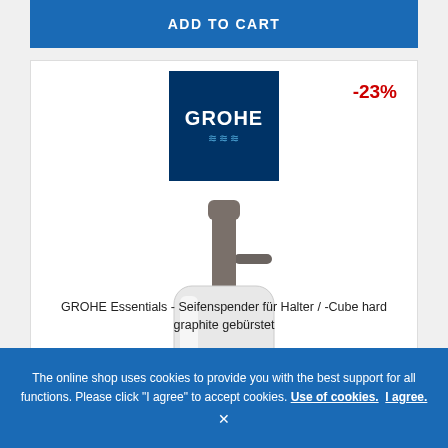[Figure (other): Blue 'ADD TO CART' button bar at the top of the page]
[Figure (logo): GROHE logo — dark navy blue square with 'GROHE' text and wave graphic in white]
-23%
[Figure (photo): GROHE Essentials soap dispenser product photo — frosted white cylindrical glass container with a brushed hard graphite pump top]
GROHE Essentials - Seifenspender für Halter / -Cube hard graphite gebürstet
The online shop uses cookies to provide you with the best support for all functions. Please click "I agree" to accept cookies. Use of cookies.  I agree.